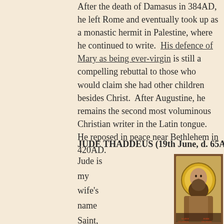After the death of Damasus in 384AD, he left Rome and eventually took up as a monastic hermit in Palestine, where he continued to write. His defence of Mary as being ever-virgin is still a compelling rebuttal to those who would claim she had other children besides Christ. After Augustine, he remains the second most voluminous Christian writer in the Latin tongue. He reposed in peace near Bethlehem in 420AD.
JUDE THADDEUS (19th June, d. 65AD)
Jude is my wife's name Saint,
[Figure (illustration): Religious icon painting of Saint Jude Thaddeus against a golden halo background, with text labels 'SAINT THADDEUS' and 'JUDE HIS SISTER' in red letters at the bottom]